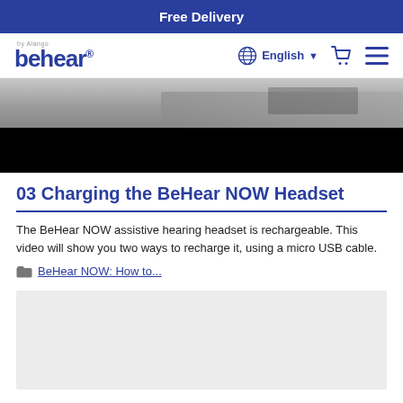Free Delivery
[Figure (logo): BeHear by Alango logo with navigation: globe icon, English language selector, cart icon, hamburger menu]
[Figure (screenshot): Partial video thumbnail showing a laptop on a desk, with a black playback bar at bottom]
03 Charging the BeHear NOW Headset
The BeHear NOW assistive hearing headset is rechargeable. This video will show you two ways to recharge it, using a micro USB cable.
BeHear NOW: How to...